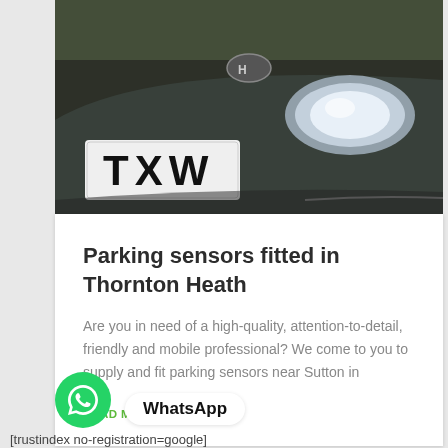[Figure (photo): Close-up photo of a car front showing a number plate with letters TXW visible, dark grey/blue car body with headlight]
Parking sensors fitted in Thornton Heath
Are you in need of a high-quality, attention-to-detail, friendly and mobile professional? We come to you to supply and fit parking sensors near Sutton in
READ MORE »
[Figure (logo): WhatsApp green circle icon with phone/chat logo, and WhatsApp label button]
[trustindex no-registration=google]